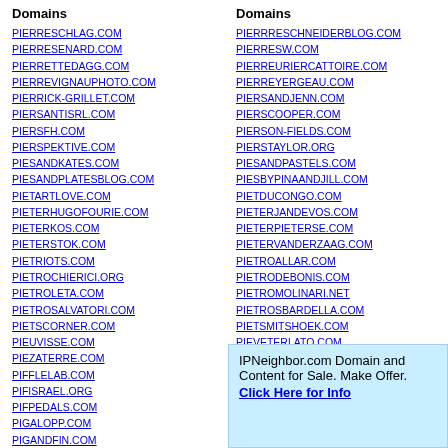Domains
PIERRESCHLAG.COM
PIERRESENARD.COM
PIERRETTEDAGG.COM
PIERREVIGNAUPHOTO.COM
PIERRICK-GRILLET.COM
PIERSANTISRL.COM
PIERSFH.COM
PIERSPEKTIVE.COM
PIESANDKATES.COM
PIESANDPLATESBLOG.COM
PIETARTLOVE.COM
PIETERHUGOFOURIE.COM
PIETERKOS.COM
PIETERSTOK.COM
PIETRIOTS.COM
PIETROCHIERICI.ORG
PIETROLETA.COM
PIETROSALVATORI.COM
PIETSCORNER.COM
PIEUVISSE.COM
PIEZATERRE.COM
PIFFLELAB.COM
PIFISRAEL.ORG
PIFPEDALS.COM
PIGALOPP.COM
PIGANDFIN.COM
Domains
PIERRRESCHNEIDERBLOG.COM
PIERRESW.COM
PIERREURIERCATTOIRE.COM
PIERREYERGEAU.COM
PIERSANDJENN.COM
PIERSCOOPER.COM
PIERSON-FIELDS.COM
PIERSTAYLOR.ORG
PIESANDPASTELS.COM
PIESBYPINAANDJILL.COM
PIETDUCONGO.COM
PIETERJANDEVOS.COM
PIETERPIETERSE.COM
PIETERVANDERZAAG.COM
PIETROALLAR.COM
PIETRODEBONIS.COM
PIETROMOLINARI.NET
PIETROSBARDELLA.COM
PIETSMITSHOEK.COM
PIEVETERLATO.COM
PIFEA.ORG
IPNeighbor.com Domain and Content for Sale. Make Offer. Click Here for Info